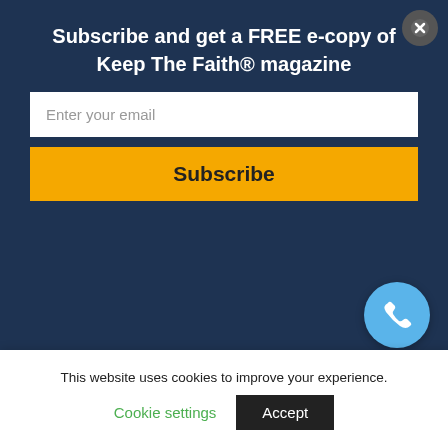[Figure (photo): Person in a red/maroon hoodie seated, reading an open book, seen from behind/side, against a light background]
The dangerous collusion of silence
This website uses cookies to improve your experience.
Cookie settings   Accept
Subscribe and get a FREE e-copy of Keep The Faith® magazine
Enter your email
Subscribe